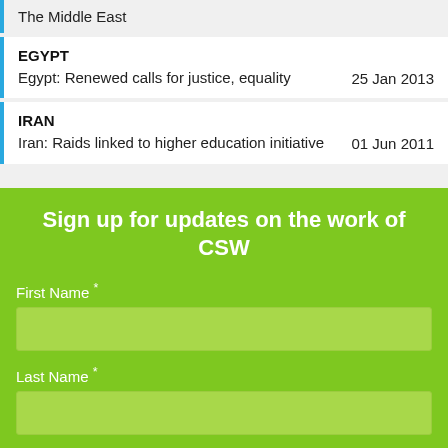The Middle East
EGYPT — Egypt: Renewed calls for justice, equality — 25 Jan 2013
IRAN — Iran: Raids linked to higher education initiative — 01 Jun 2011
Sign up for updates on the work of CSW
First Name *
Last Name *